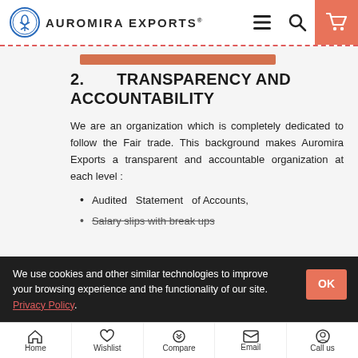Auromira Exports
2. TRANSPARENCY AND ACCOUNTABILITY
We are an organization which is completely dedicated to follow the Fair trade. This background makes Auromira Exports a transparent and accountable organization at each level :
Audited Statement of Accounts,
Salary slips with break ups
We use cookies and other similar technologies to improve your browsing experience and the functionality of our site. Privacy Policy.
Home | Wishlist | Compare | Email | Call us